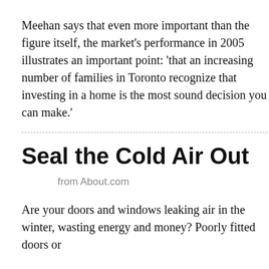Meehan says that even more important than the figure itself, the market's performance in 2005 illustrates an important point: 'that an increasing number of families in Toronto recognize that investing in a home is the most sound decision you can make.'
Seal the Cold Air Out
from About.com
Are your doors and windows leaking air in the winter, wasting energy and money? Poorly fitted doors or